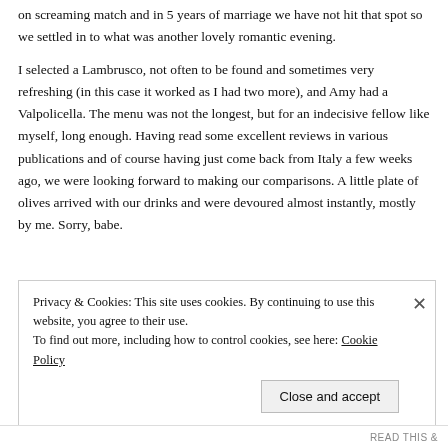on screaming match and in 5 years of marriage we have not hit that spot so we settled in to what was another lovely romantic evening.
I selected a Lambrusco, not often to be found and sometimes very refreshing (in this case it worked as I had two more), and Amy had a Valpolicella. The menu was not the longest, but for an indecisive fellow like myself, long enough. Having read some excellent reviews in various publications and of course having just come back from Italy a few weeks ago, we were looking forward to making our comparisons. A little plate of olives arrived with our drinks and were devoured almost instantly, mostly by me. Sorry, babe.
Privacy & Cookies: This site uses cookies. By continuing to use this website, you agree to their use. To find out more, including how to control cookies, see here: Cookie Policy. Close and accept.
READ THIS &